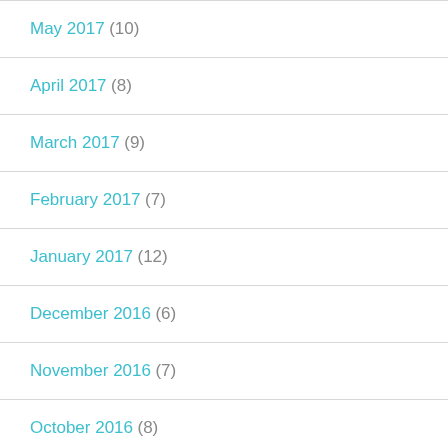May 2017 (10)
April 2017 (8)
March 2017 (9)
February 2017 (7)
January 2017 (12)
December 2016 (6)
November 2016 (7)
October 2016 (8)